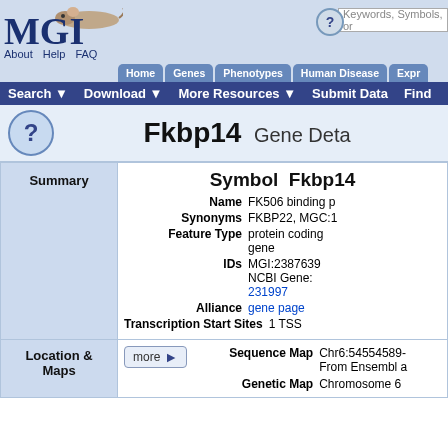MGI - Mouse Genome Informatics
Fkbp14 Gene Detail
| Section | Field | Value |
| --- | --- | --- |
| Summary | Symbol | Fkbp14 |
| Summary | Name | FK506 binding p... |
| Summary | Synonyms | FKBP22, MGC:1... |
| Summary | Feature Type | protein coding gene |
| Summary | IDs | MGI:2387639 NCBI Gene: 231997 |
| Summary | Alliance | gene page |
| Summary | Transcription Start Sites | 1 TSS |
| Location & Maps | Sequence Map | Chr6:54554589-... From Ensembl a... |
| Location & Maps | Genetic Map | Chromosome 6... |